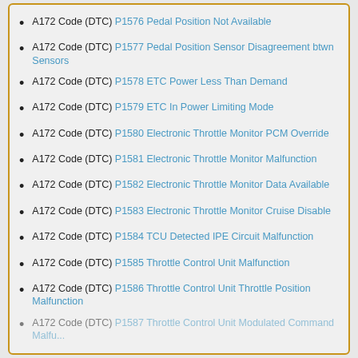A172 Code (DTC) P1576 Pedal Position Not Available
A172 Code (DTC) P1577 Pedal Position Sensor Disagreement btwn Sensors
A172 Code (DTC) P1578 ETC Power Less Than Demand
A172 Code (DTC) P1579 ETC In Power Limiting Mode
A172 Code (DTC) P1580 Electronic Throttle Monitor PCM Override
A172 Code (DTC) P1581 Electronic Throttle Monitor Malfunction
A172 Code (DTC) P1582 Electronic Throttle Monitor Data Available
A172 Code (DTC) P1583 Electronic Throttle Monitor Cruise Disable
A172 Code (DTC) P1584 TCU Detected IPE Circuit Malfunction
A172 Code (DTC) P1585 Throttle Control Unit Malfunction
A172 Code (DTC) P1586 Throttle Control Unit Throttle Position Malfunction
A172 Code (DTC) P1587 Throttle Control Unit Modulated Command Malfunction